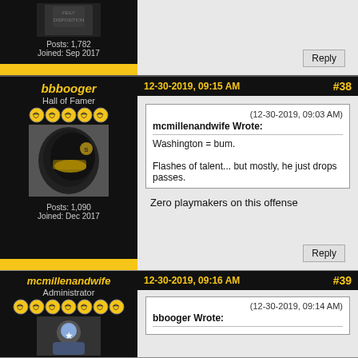Posts: 1,782
Joined: Sep 2017
[Figure (photo): Forum avatar image with text 'FEILY DISPOSITION']
[Figure (screenshot): Reply button area]
bbbooger
Hall of Famer
[Figure (photo): Football player avatar - Steelers player with black helmet]
Posts: 1,090
Joined: Dec 2017
12-30-2019, 09:15 AM
#38
(12-30-2019, 09:03 AM)
mcmillenandwife Wrote:
Washington = bum.

Flashes of talent... but mostly, he just drops passes.
Zero playmakers on this offense
mcmillenandwife
Administrator
12-30-2019, 09:16 AM
#39
(12-30-2019, 09:14 AM)
bbooger Wrote: